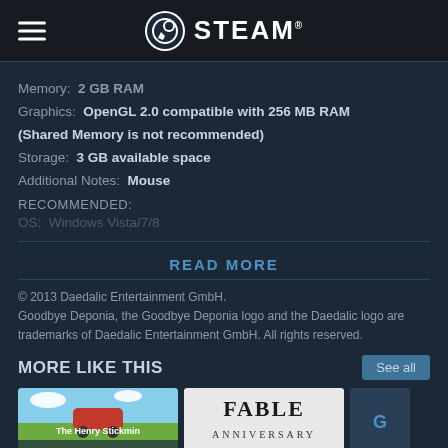STEAM
Memory:  2 GB RAM
Graphics:  OpenGL 2.0 compatible with 256 MB RAM (Shared Memory is not recommended)
Storage:  3 GB available space
Additional Notes:  Mouse
RECOMMENDED:
OS:  Windows Vista/7/8
READ MORE
© 2013 Daedalic Entertainment GmbH. Goodbye Deponia, the Goodbye Deponia logo and the Daedalic logo are trademarks of Daedalic Entertainment GmbH. All rights reserved.
MORE LIKE THIS
[Figure (screenshot): The Henry Stickmin Collection game thumbnail]
[Figure (screenshot): Fable Anniversary game thumbnail]
[Figure (screenshot): Partial third game thumbnail]